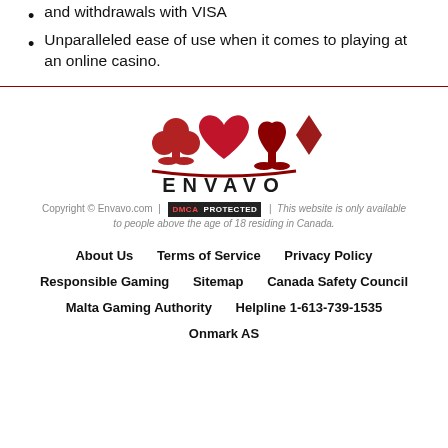and withdrawals with VISA
Unparalleled ease of use when it comes to playing at an online casino.
[Figure (logo): Envavo logo with four red card suit symbols (club, heart, spade, diamond) above a curved red line, with the word ENVAVO in bold uppercase letters below.]
Copyright © Envavo.com | DMCA PROTECTED | This website is only available to people above the age of 18 residing in Canada.
About Us   Terms of Service   Privacy Policy   Responsible Gaming   Sitemap   Canada Safety Council   Malta Gaming Authority   Helpline 1-613-739-1535   Onmark AS